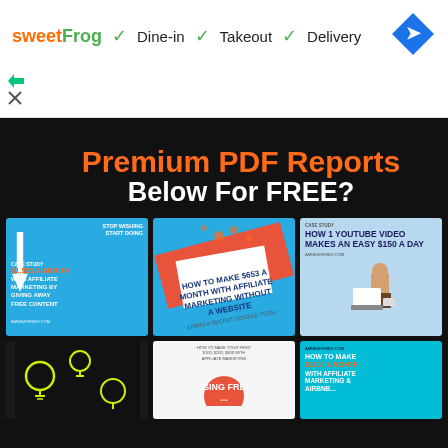[Figure (screenshot): sweetFrog restaurant ad banner showing Dine-in, Takeout, Delivery options with checkmarks and Google Maps navigation icon]
Premium PDF Reports Below For FREE?
[Figure (infographic): Grid of 6 PDF report book covers including: '$1,521 A Month With Affiliate Marketing By Giving Away Free Content', 'How To Make $653 A Month With Affiliate Marketing Without A Website (Using A Secret Google Tool)', 'How 1 YouTube Video Makes An Easy $150 A Day', a lightbulb doodle cover, 'Using Free...' affiliate marketing cover, and 'How To Make $1100 A Month With Affiliate Marketing &...']